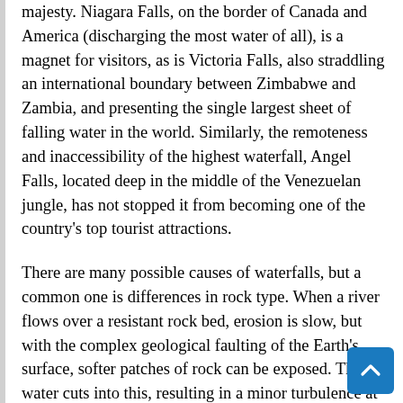majesty. Niagara Falls, on the border of Canada and America (discharging the most water of all), is a magnet for visitors, as is Victoria Falls, also straddling an international boundary between Zimbabwe and Zambia, and presenting the single largest sheet of falling water in the world. Similarly, the remoteness and inaccessibility of the highest waterfall, Angel Falls, located deep in the middle of the Venezuelan jungle, has not stopped it from becoming one of the country's top tourist attractions.
There are many possible causes of waterfalls, but a common one is differences in rock type. When a river flows over a resistant rock bed, erosion is slow, but with the complex geological faulting of the Earth's surface, softer patches of rock can be exposed. The water cuts into this, resulting in a minor turbulence at the boundary, stirring up pebbles and grit from the riverbed, which increases the erosive capacity of the current. And so a process begins whereby the river